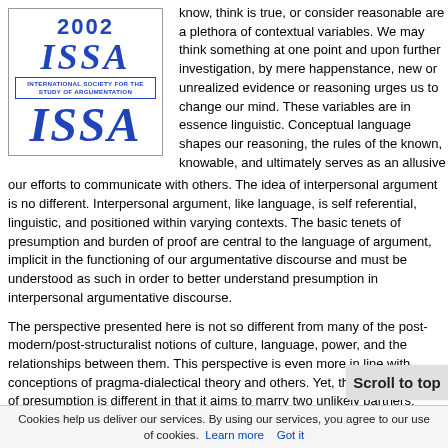[Figure (logo): ISSA 2002 logo - International Society for the Study of Argumentation, blue text with border]
know, think is true, or consider reasonable are a plethora of contextual variables. We may think something at one point and upon further investigation, by mere happenstance, new or unrealized evidence or reasoning urges us to change our mind. These variables are in essence linguistic. Conceptual language shapes our reasoning, the rules of the known, knowable, and ultimately serves as an allusive guide to our efforts to communicate with others. The idea of interpersonal argument is no different. Interpersonal argument, like language, is self referential, linguistic, and positioned within varying contexts. The basic tenets of presumption and burden of proof are central to the language of argument, implicit in the functioning of our argumentative discourse and must be understood as such in order to better understand presumption in interpersonal argumentative discourse.
The perspective presented here is not so different from many of the post-modern/post-structuralist notions of culture, language, power, and the relationships between them. This perspective is even more in line with conceptions of pragma-dialectical theory and others. Yet, this perspective of presumption is different in that it aims to marry two unlikely partners: Richard Whately and Jacques Derrida. Through sixteen revisions of Richard Whately finally settled on a very basic psychological perspective...of proof, a transference of the conventional responsibilities of...of Jacques Derrida in this essay...
Scroll to top
Cookies help us deliver our services. By using our services, you agree to our use of cookies. Learn more   Got it